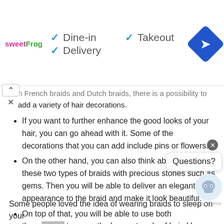[Figure (screenshot): Ad bar with sweetFrog logo and dine-in/takeout/delivery options with checkmarks, and a blue navigation diamond icon]
... French braids and Dutch braids, there is a possibility to add a variety of hair decorations.
If you want to further enhance the good looks of your hair, you can go ahead with it. Some of the decorations that you can add include pins or flowers.
On the other hand, you can also think about pairing these two types of braids with precious stones such as gems. Then you will be able to deliver an elegant appearance to the braid and make it look beautiful.
On top of that, you will be able to use both these... to cover the loose strands of hair. Hence, you will be able to get them while you are engaging with workouts or practici...
Some people loved the idea of wearing braids to sleep on your...
[Figure (screenshot): Chat widget with close X button, Questions? bubble, and robot avatar]